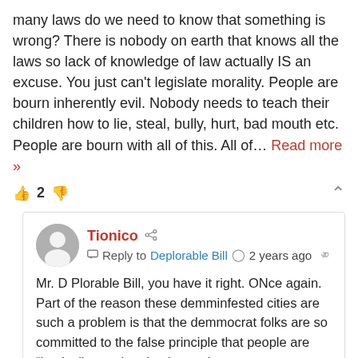many laws do we need to know that something is wrong? There is nobody on earth that knows all the laws so lack of knowledge of law actually IS an excuse. You just can't legislate morality. People are bourn inherently evil. Nobody needs to teach their children how to lie, steal, bully, hurt, bad mouth etc. People are bourn with all of this. All of… Read more »
👍 2 👎 ∧
Tionico  Reply to Deplorable Bill  2 years ago  Mr. D Plorable Bill, you have it right. ONce again. Part of the reason these demminfested cities are such a problem is that the demmocrat folks are so committed to the false principle that people are "basically good and only need some space to act out once in a while". that they will eventually turn round and go right. Yeah,